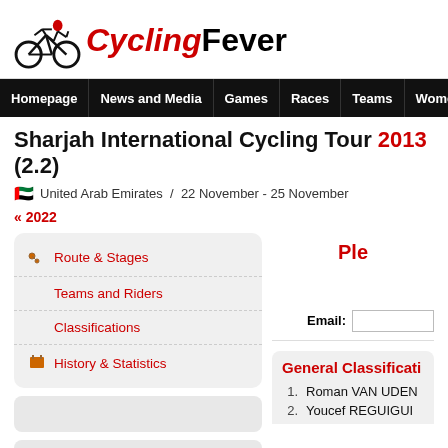[Figure (logo): CyclingFever logo with cyclist icon and stylized text]
Homepage | News and Media | Games | Races | Teams | Women | Tran
Sharjah International Cycling Tour 2013 (2.2)
United Arab Emirates / 22 November - 25 November
<< 2022
Route & Stages
Teams and Riders
Classifications
History & Statistics
Ple
Email:
General Classificati
1. Roman VAN UDEN
2. Youcef REGUIGUI